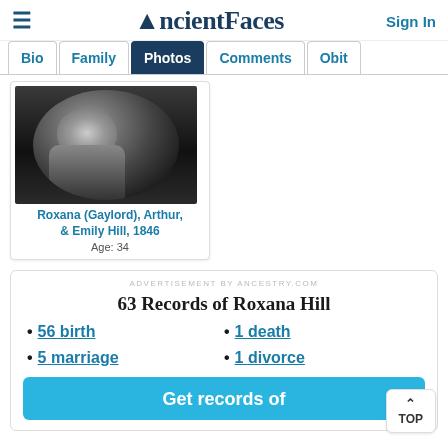AncientFaces — Sign In
Bio | Family | Photos | Comments | Obit
[Figure (photo): Old daguerreotype-style oval portrait photograph, circa 1846, showing Roxana (Gaylord), Arthur, & Emily Hill]
Roxana (Gaylord), Arthur, & Emily Hill, 1846
Age: 34
ADVERTISEMENT BY ANCESTRY.COM
63 Records of Roxana Hill
56 birth
1 death
5 marriage
1 divorce
Get records of